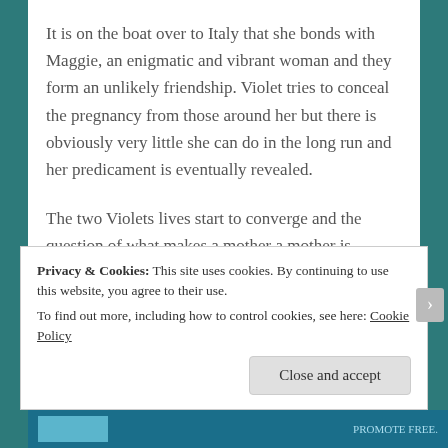It is on the boat over to Italy that she bonds with Maggie, an enigmatic and vibrant woman and they form an unlikely friendship. Violet tries to conceal the pregnancy from those around her but there is obviously very little she can do in the long run and her predicament is eventually revealed.
The two Violets lives start to converge and the question of what makes a mother a mother is examined. Interspersed throughout the two Violet's narratives...
Privacy & Cookies: This site uses cookies. By continuing to use this website, you agree to their use.
To find out more, including how to control cookies, see here: Cookie Policy